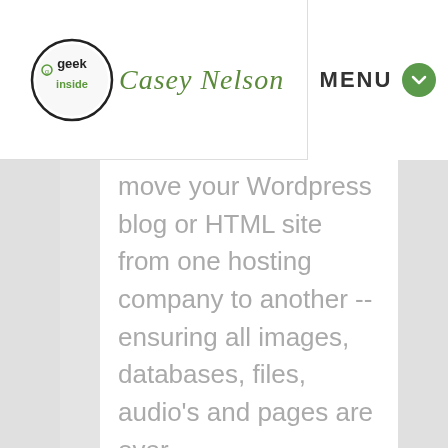[Figure (logo): Geek Inside circle logo with Casey Nelson cursive script text]
MENU
move your Wordpress blog or HTML site from one hosting company to another -- ensuring all images, databases, files, audio's and pages are over